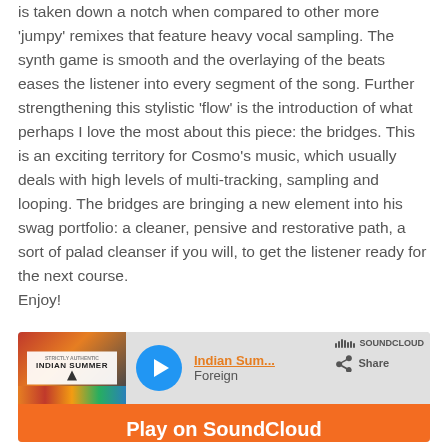is taken down a notch when compared to other more 'jumpy' remixes that feature heavy vocal sampling. The synth game is smooth and the overlaying of the beats eases the listener into every segment of the song. Further strengthening this stylistic 'flow' is the introduction of what perhaps I love the most about this piece: the bridges. This is an exciting territory for Cosmo's music, which usually deals with high levels of multi-tracking, sampling and looping. The bridges are bringing a new element into his swag portfolio: a cleaner, pensive and restorative path, a sort of palad cleanser if you will, to get the listener ready for the next course.
Enjoy!
[Figure (screenshot): SoundCloud embedded player widget showing 'Indian Sum...' track by Foreign, with a play button, album art with 'Indian Summer' text, SoundCloud logo, Share button, and an orange 'Play on SoundCloud' button overlay.]